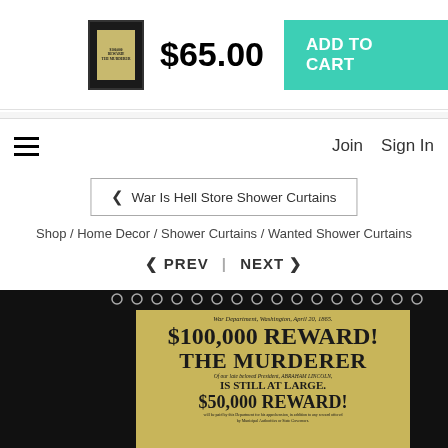[Figure (screenshot): E-commerce product page showing a shower curtain with a $100,000 Reward wanted poster design. Includes cart bar with price $65.00 and Add to Cart button, navigation bar with hamburger menu, Join and Sign In links, back button for War Is Hell Store Shower Curtains, breadcrumb navigation, Prev/Next navigation, and product image of a black shower curtain displaying a vintage wanted poster reading $100,000 REWARD! THE MURDERER OF OUR LATE BELOVED PRESIDENT ABRAHAM LINCOLN IS STILL AT LARGE. $50,000 REWARD!]
$65.00
ADD TO CART
Join  Sign In
< War Is Hell Store Shower Curtains
Shop / Home Decor / Shower Curtains / Wanted Shower Curtains
< PREV | NEXT >